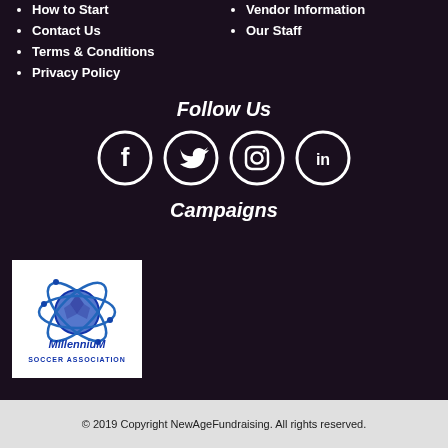How to Start
Contact Us
Terms & Conditions
Privacy Policy
Vendor Information
Our Staff
Follow Us
[Figure (illustration): Social media icons: Facebook, Twitter, Instagram, LinkedIn — white circle outlines on dark background]
Campaigns
[Figure (logo): Millennium Soccer Association logo — blue soccer ball with decorative lines and cursive text on white background]
© 2019 Copyright NewAgeFundraising. All rights reserved.